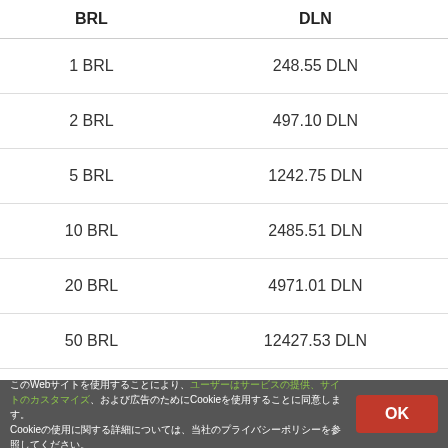| BRL | DLN |
| --- | --- |
| 1 BRL | 248.55 DLN |
| 2 BRL | 497.10 DLN |
| 5 BRL | 1242.75 DLN |
| 10 BRL | 2485.51 DLN |
| 20 BRL | 4971.01 DLN |
| 50 BRL | 12427.53 DLN |
| 100 BRL | 24855 DLN |
| 1000 BRL | 248551 DLN |
このWebサイトを使用することにより、ユーザーはサービスの提供、サイトのカスタマイズ、および広告のためにCookieを使用することに同意します。Cookieの使用に関する詳細については、当社のプライバシーポリシーを参照してください。